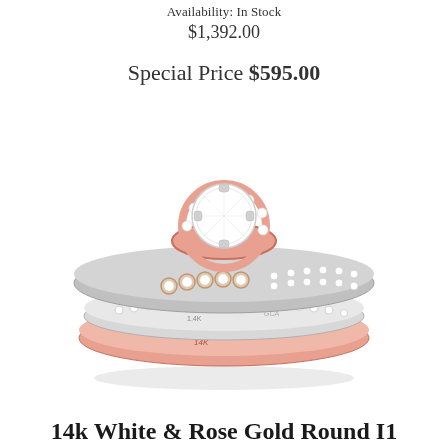Availability: In Stock
$1,392.00
Special Price $595.00
[Figure (photo): A 14k white and rose gold diamond bridal ring set featuring a round diamond center stone in a rose gold bezel halo setting, with diamond-studded bands. The rings are engraved with '14K' and 'GCA' markings.]
14k White & Rose Gold Round I1